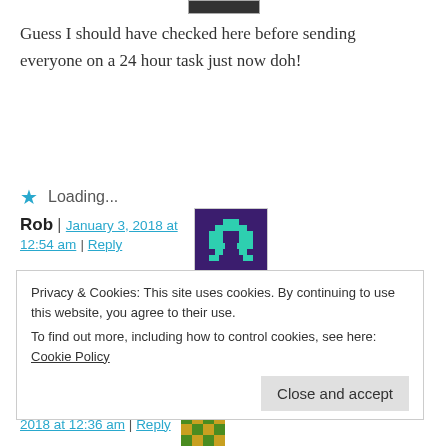[Figure (illustration): Partial avatar image at top, dark colored square]
Guess I should have checked here before sending everyone on a 24 hour task just now doh!
Loading...
Rob | January 3, 2018 at 12:54 am | Reply
[Figure (illustration): Pixel art avatar for Rob: teal space invader on dark purple background]
How do you check your character sets in the game? It's been so many
Privacy & Cookies: This site uses cookies. By continuing to use this website, you agree to their use.
To find out more, including how to control cookies, see here: Cookie Policy
Close and accept
2018 at 12:36 am | Reply
[Figure (illustration): Small avatar image at bottom right, green and gold pattern]